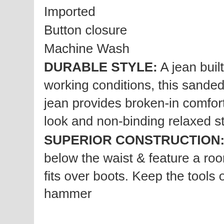Imported
Button closure
Machine Wash
DURABLE STYLE: A jean built to comfortably withstand the toughest working conditions, this sanded & garment washed 100% cotton duck jean provides broken-in comfort from day one with a stylishly distressed look and non-binding relaxed straight leg fit.
SUPERIOR CONSTRUCTION: These comfortable jeans sit slightly below the waist & feature a roomy seat & thigh with a straight leg that fits over boots. Keep the tools of your trade close at hand with the hammer